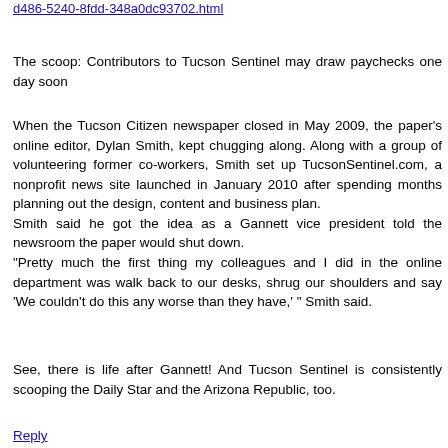d486-5240-8fdd-348a0dc93702.html
The scoop: Contributors to Tucson Sentinel may draw paychecks one day soon
When the Tucson Citizen newspaper closed in May 2009, the paper's online editor, Dylan Smith, kept chugging along. Along with a group of volunteering former co-workers, Smith set up TucsonSentinel.com, a nonprofit news site launched in January 2010 after spending months planning out the design, content and business plan.
Smith said he got the idea as a Gannett vice president told the newsroom the paper would shut down.
"Pretty much the first thing my colleagues and I did in the online department was walk back to our desks, shrug our shoulders and say 'We couldn't do this any worse than they have,' " Smith said.
See, there is life after Gannett! And Tucson Sentinel is consistently scooping the Daily Star and the Arizona Republic, too.
Reply